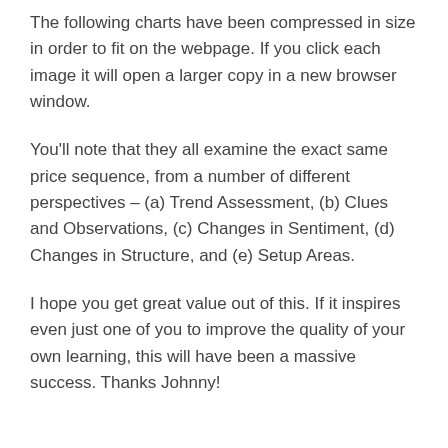The following charts have been compressed in size in order to fit on the webpage. If you click each image it will open a larger copy in a new browser window.
You'll note that they all examine the exact same price sequence, from a number of different perspectives – (a) Trend Assessment, (b) Clues and Observations, (c) Changes in Sentiment, (d) Changes in Structure, and (e) Setup Areas.
I hope you get great value out of this. If it inspires even just one of you to improve the quality of your own learning, this will have been a massive success. Thanks Johnny!